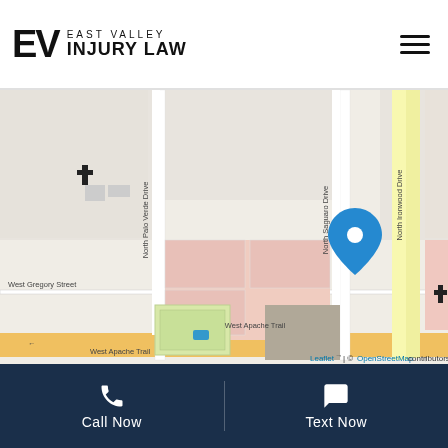[Figure (logo): East Valley Injury Law logo with EV monogram and text]
[Figure (map): OpenStreetMap showing location of East Valley Injury Law near North Ironwood Drive and West Apache Trail, Apache Junction area. Blue location pin marker visible. Streets labeled: North Palo Verde Drive, North Saguaro Drive, North Ironwood Drive, North Gold Drive, West Gregory Street, West Roosevelt, West Apache Trail.]
Call Now
Text Now